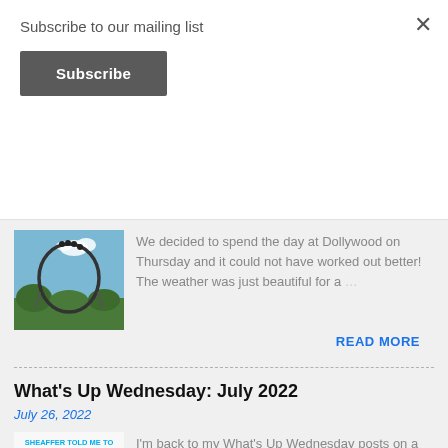Subscribe to our mailing list
×
Subscribe
[Figure (photo): Photo of a roller coaster loop against a blue sky with trees below]
We decided to spend the day at Dollywood on Thursday and it could not have worked out better! The weather was just beautiful for a …
READ MORE
What's Up Wednesday: July 2022
July 26, 2022
[Figure (photo): What's Up Wednesday blog post thumbnail with text: Sheaffer Told Me To & Mixedupmotherhood present What's Up Wednesday with Sheaffer & Sh]
I'm back to my What's Up Wednesday posts on a Tuesday!  Can you believe this is the end of July already?! I can not believe how fast thi…